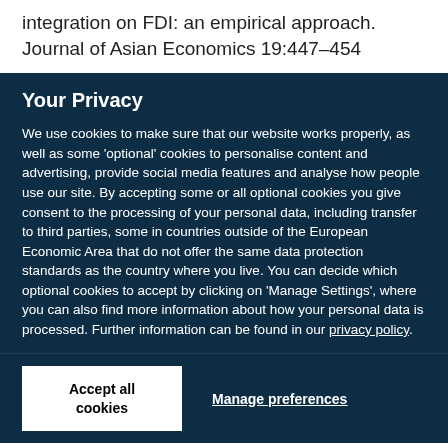integration on FDI: an empirical approach. Journal of Asian Economics 19:447–454
Your Privacy
We use cookies to make sure that our website works properly, as well as some 'optional' cookies to personalise content and advertising, provide social media features and analyse how people use our site. By accepting some or all optional cookies you give consent to the processing of your personal data, including transfer to third parties, some in countries outside of the European Economic Area that do not offer the same data protection standards as the country where you live. You can decide which optional cookies to accept by clicking on 'Manage Settings', where you can also find more information about how your personal data is processed. Further information can be found in our privacy policy.
Accept all cookies
Manage preferences